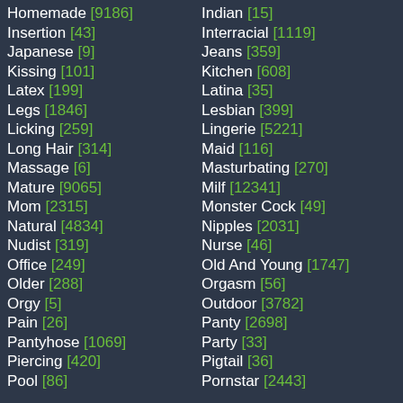Homemade [9186]
Insertion [43]
Japanese [9]
Kissing [101]
Latex [199]
Legs [1846]
Licking [259]
Long Hair [314]
Massage [6]
Mature [9065]
Mom [2315]
Natural [4834]
Nudist [319]
Office [249]
Older [288]
Orgy [5]
Pain [26]
Pantyhose [1069]
Piercing [420]
Pool [86]
Indian [15]
Interracial [1119]
Jeans [359]
Kitchen [608]
Latina [35]
Lesbian [399]
Lingerie [5221]
Maid [116]
Masturbating [270]
Milf [12341]
Monster Cock [49]
Nipples [2031]
Nurse [46]
Old And Young [1747]
Orgasm [56]
Outdoor [3782]
Panty [2698]
Party [33]
Pigtail [36]
Pornstar [2443]